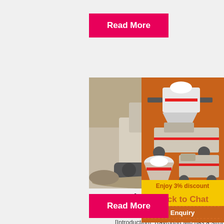Read More
[Figure (photo): Mining/quarry crawler machine (Raymond Mill or similar heavy equipment) in rocky terrain]
Raymond Mill, Raymond Mill Working Principle, Raymond
[Introduction]: Raymond Mill has a strong...
[Figure (photo): Sidebar advertisement showing industrial crushing/milling machines on orange background with 'Enjoy 3% discount', 'Click to Chat', 'Enquiry', 'limingjlmofen@sina.com']
Read More